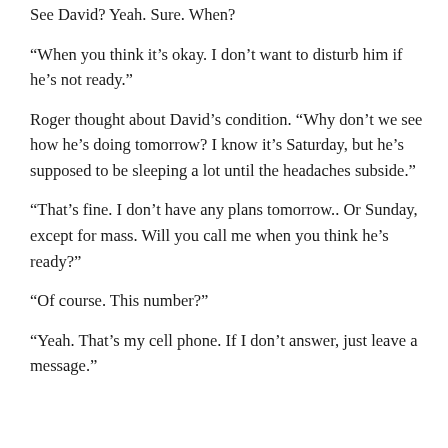See David? Yeah. Sure. When?
“When you think it’s okay. I don’t want to disturb him if he’s not ready.”
Roger thought about David’s condition. “Why don’t we see how he’s doing tomorrow? I know it’s Saturday, but he’s supposed to be sleeping a lot until the headaches subside.”
“That’s fine. I don’t have any plans tomorrow.. Or Sunday, except for mass. Will you call me when you think he’s ready?”
“Of course. This number?”
“Yeah. That’s my cell phone. If I don’t answer, just leave a message.”